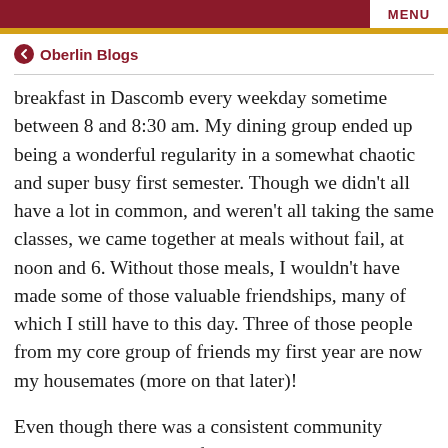MENU
← Oberlin Blogs
breakfast in Dascomb every weekday sometime between 8 and 8:30 am. My dining group ended up being a wonderful regularity in a somewhat chaotic and super busy first semester. Though we didn't all have a lot in common, and weren't all taking the same classes, we came together at meals without fail, at noon and 6. Without those meals, I wouldn't have made some of those valuable friendships, many of which I still have to this day. Three of those people from my core group of friends my first year are now my housemates (more on that later)!
Even though there was a consistent community aspect to my meals my first year, I still wanted to